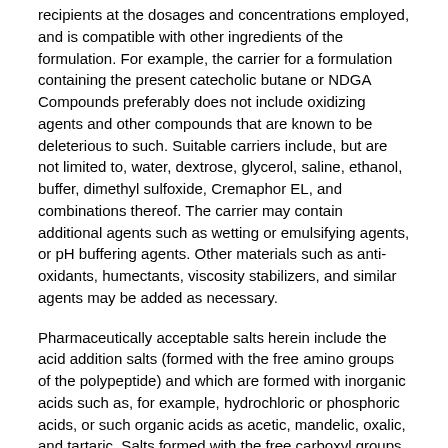recipients at the dosages and concentrations employed, and is compatible with other ingredients of the formulation. For example, the carrier for a formulation containing the present catecholic butane or NDGA Compounds preferably does not include oxidizing agents and other compounds that are known to be deleterious to such. Suitable carriers include, but are not limited to, water, dextrose, glycerol, saline, ethanol, buffer, dimethyl sulfoxide, Cremaphor EL, and combinations thereof. The carrier may contain additional agents such as wetting or emulsifying agents, or pH buffering agents. Other materials such as anti-oxidants, humectants, viscosity stabilizers, and similar agents may be added as necessary.
Pharmaceutically acceptable salts herein include the acid addition salts (formed with the free amino groups of the polypeptide) and which are formed with inorganic acids such as, for example, hydrochloric or phosphoric acids, or such organic acids as acetic, mandelic, oxalic, and tartaric. Salts formed with the free carboxyl groups may also be derived from inorganic bases such as, for example, sodium, potassium, ammonium, calcium, or ferric hydroxides, and such organic bases as isopropylamine, trimethylamine, 2-ethylamino ethanol, and histidine.
The term “pharmaceutically acceptable excipient,” includes vehicles, adjuvants, or diluents or other auxiliary substances, such as those conventional in the art, which are readily available to the public. For